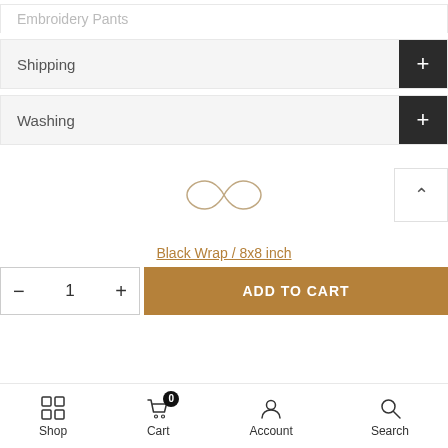Shipping
Washing
[Figure (illustration): Infinity/loop symbol logo in light tan/beige color, centered on white background]
Black Wrap / 8x8 inch
- 1 + ADD TO CART
Shop | Cart 0 | Account | Search